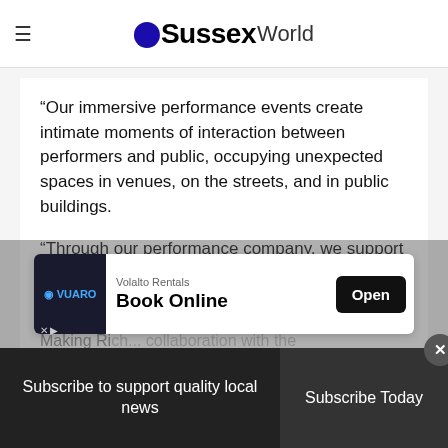OSussex World
“Our immersive performance events create intimate moments of interaction between performers and public, occupying unexpected spaces in venues, on the streets, and in public buildings.
“Through our performance company, we support the artistic development of some of the most talented and creative...
[Figure (other): Advertisement banner for Volalto Rentals - Book Online with Open button]
Subscribe to support quality local news | Subscribe Today